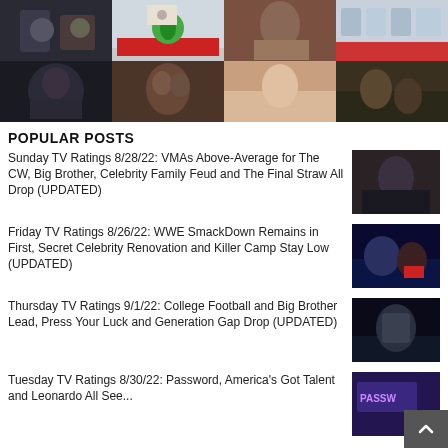[Figure (photo): 2x4 grid of TV show and news thumbnails collage at top of page]
POPULAR POSTS
Sunday TV Ratings 8/28/22: VMAs Above-Average for The CW, Big Brother, Celebrity Family Feud and The Final Straw All Drop (UPDATED)
Friday TV Ratings 8/26/22: WWE SmackDown Remains in First, Secret Celebrity Renovation and Killer Camp Stay Low (UPDATED)
Thursday TV Ratings 9/1/22: College Football and Big Brother Lead, Press Your Luck and Generation Gap Drop (UPDATED)
Tuesday TV Ratings 8/30/22: Password, America's Got Talent and Leonardo All See...